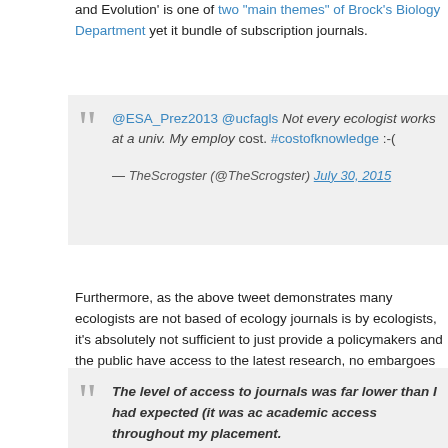and Evolution' is one of two "main themes" of Brock's Biology Department yet it bundle of subscription journals.
@ESA_Prez2013 @ucfagls Not every ecologist works at a univ. My employ cost. #costofknowledge :-(

— TheScrogster (@TheScrogster) July 30, 2015
Furthermore, as the above tweet demonstrates many ecologists are not based of ecology journals is by ecologists, it's absolutely not sufficient to just provide a policymakers and the public have access to the latest research, no embargoes access to research? Look no further than this blog post from a recent intern at t Technology (POST):
The level of access to journals was far lower than I had expected (it was ac academic access throughout my placement.